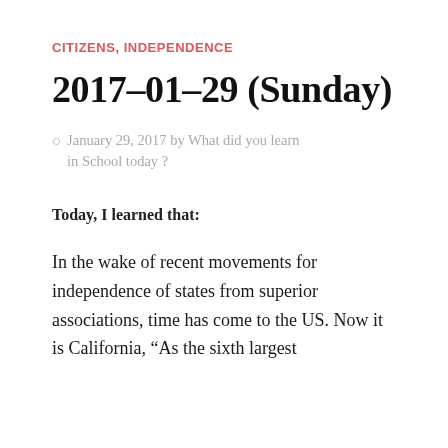CITIZENS, INDEPENDENCE
2017-01-29 (Sunday)
January 29, 2017 by What did you learn in School today ?
Today, I learned that:
In the wake of recent movements for independence of states from superior associations, time has come to the US. Now it is California, “As the sixth largest